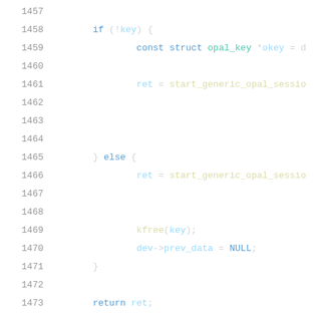Source code listing lines 1457-1477, showing C/kernel code with if/else block, function calls, and static function declaration for start_admin1LSP_opal_session